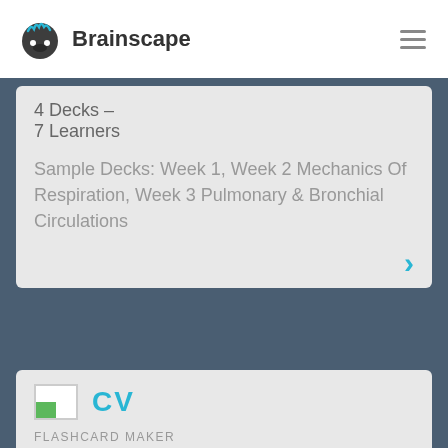Brainscape
4 Decks –
7 Learners
Sample Decks: Week 1, Week 2 Mechanics Of Respiration, Week 3 Pulmonary & Bronchial Circulations
[Figure (logo): CV logo with green and white icon and cyan CV text]
FLASHCARD MAKER
ART VANDELAY